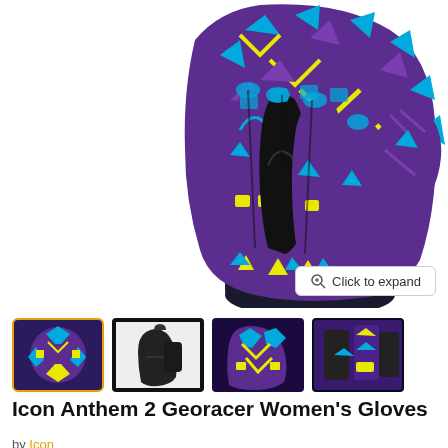[Figure (photo): Icon Anthem 2 Georacer Women's Gloves product photo showing a colorful motorcycle glove with purple, blue, yellow, and black geometric/tribal pattern, viewed from above at an angle with fingers curled downward.]
[Figure (photo): Four thumbnail images of the gloves: first (active/selected) showing colorful patterned glove from above, second showing black glove side profile, third showing back of patterned glove, fourth showing close-up of glove details.]
Icon Anthem 2 Georacer Women's Gloves
by Icon